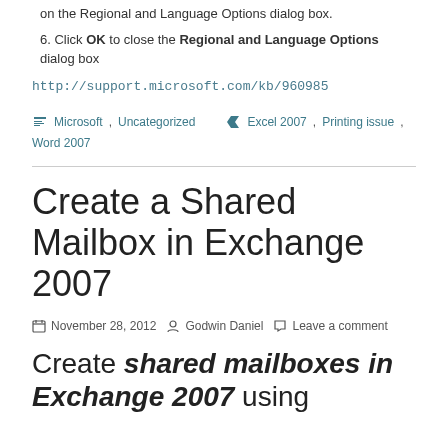on the Regional and Language Options dialog box.
6. Click OK to close the Regional and Language Options dialog box
http://support.microsoft.com/kb/960985
Microsoft, Uncategorized   Excel 2007, Printing issue, Word 2007
Create a Shared Mailbox in Exchange 2007
November 28, 2012   Godwin Daniel   Leave a comment
Create shared mailboxes in Exchange 2007 using